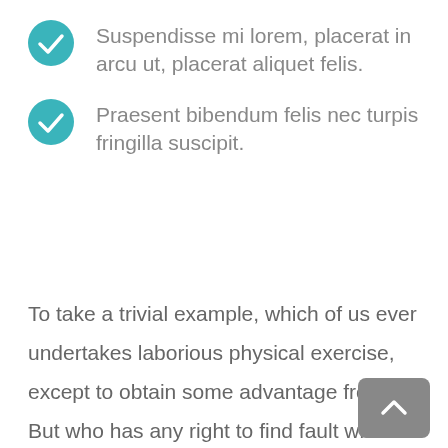Suspendisse mi lorem, placerat in arcu ut, placerat aliquet felis.
Praesent bibendum felis nec turpis fringilla suscipit.
To take a trivial example, which of us ever undertakes laborious physical exercise, except to obtain some advantage from it? But who has any right to find fault with a man who chooses to enjoy a pleasure that has no annoying consequences, or one who avoids a pain that produces no resultant pleasure